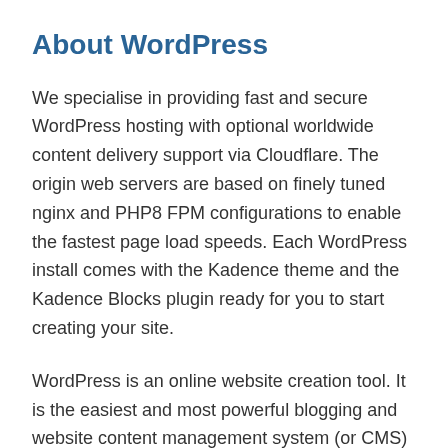About WordPress
We specialise in providing fast and secure WordPress hosting with optional worldwide content delivery support via Cloudflare. The origin web servers are based on finely tuned nginx and PHP8 FPM configurations to enable the fastest page load speeds. Each WordPress install comes with the Kadence theme and the Kadence Blocks plugin ready for you to start creating your site.
WordPress is an online website creation tool. It is the easiest and most powerful blogging and website content management system (or CMS) in ...